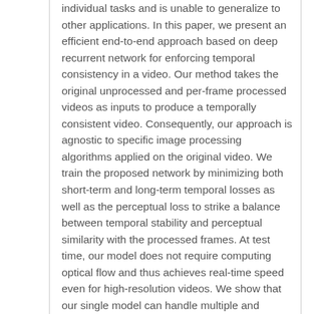individual tasks and is unable to generalize to other applications. In this paper, we present an efficient end-to-end approach based on deep recurrent network for enforcing temporal consistency in a video. Our method takes the original unprocessed and per-frame processed videos as inputs to produce a temporally consistent video. Consequently, our approach is agnostic to specific image processing algorithms applied on the original video. We train the proposed network by minimizing both short-term and long-term temporal losses as well as the perceptual loss to strike a balance between temporal stability and perceptual similarity with the processed frames. At test time, our model does not require computing optical flow and thus achieves real-time speed even for high-resolution videos. We show that our single model can handle multiple and